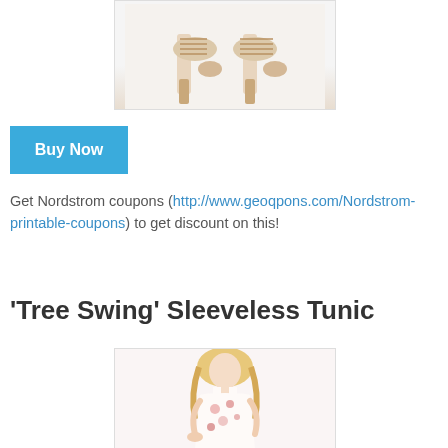[Figure (photo): Partial view of a beige/nude lace-up heeled sandal shoe on a white background]
Buy Now
Get Nordstrom coupons (http://www.geoqpons.com/Nordstrom-printable-coupons) to get discount on this!
'Tree Swing' Sleeveless Tunic
[Figure (photo): Model wearing a white floral sleeveless tunic dress, with blonde hair]